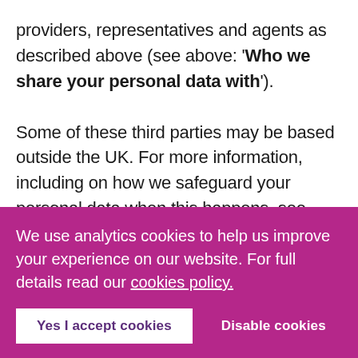providers, representatives and agents as described above (see above: 'Who we share your personal data with').

Some of these third parties may be based outside the UK. For more information, including on how we safeguard your personal data when this happens, see below: 'Transferring your
We use analytics cookies to help us improve your experience on our website. For full details read our cookies policy.
Yes I accept cookies
Disable cookies